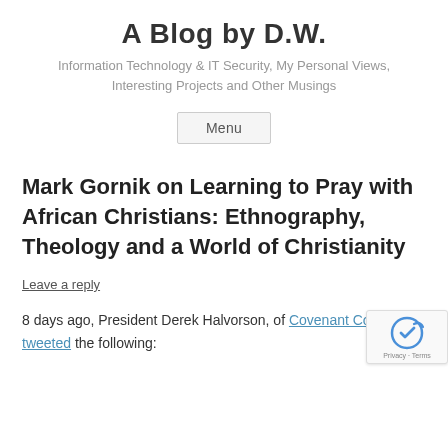A Blog by D.W.
Information Technology & IT Security, My Personal Views, Interesting Projects and Other Musings
Menu
Mark Gornik on Learning to Pray with African Christians: Ethnography, Theology and a World of Christianity
Leave a reply
8 days ago, President Derek Halvorson, of Covenant College, tweeted the following: